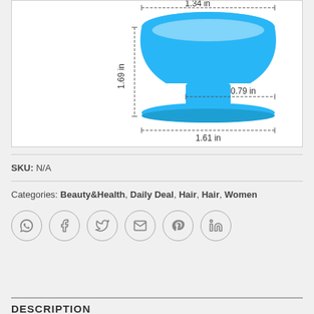[Figure (photo): Blue silicone hair dye bowl/cup with dimension annotations: 1.34 in (width at top), 1.69 in (height), 0.79 in (neck diameter), 1.61 in (base diameter)]
SKU: N/A
Categories: Beauty&Health, Daily Deal, Hair, Hair, Women
[Figure (infographic): Social sharing icons row: WhatsApp, Facebook, Twitter, Email, Pinterest, LinkedIn]
DESCRIPTION